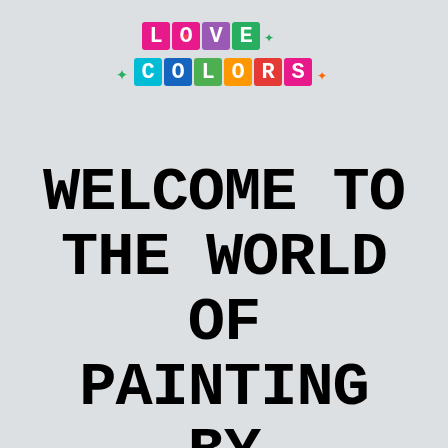[Figure (logo): Love Colors pixel-art logo with colorful letters: L(pink), O(red with heart), V(purple), E(green), star symbol, C(cyan), O(dark blue), L(green), O(orange with circle), R(red), S(pink), plus decorative cross symbols in green and orange]
WELCOME TO THE WORLD OF PAINTING BY NUMBERS!